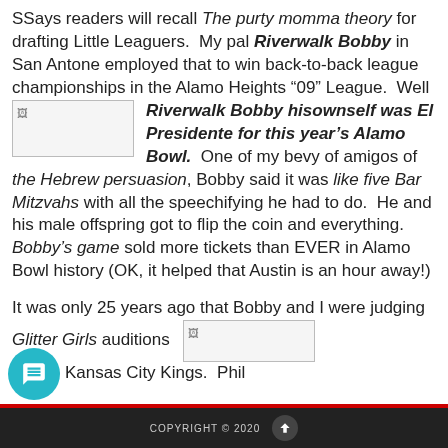SSays readers will recall The purty momma theory for drafting Little Leaguers. My pal Riverwalk Bobby in San Antone employed that to win back-to-back league championships in the Alamo Heights ’09” League. Well Riverwalk Bobby hisownself was El Presidente for this year’s Alamo Bowl. One of my bevy of amigos of the Hebrew persuasion, Bobby said it was like five Bar Mitzvahs with all the speechifying he had to do. He and his male offspring got to flip the coin and everything. Bobby’s game sold more tickets than EVER in Alamo Bowl history (OK, it helped that Austin is an hour away!)
It was only 25 years ago that Bobby and I were judging Glitter Girls auditions for the Kansas City Kings. Phil
COPYRIGHT © 2020